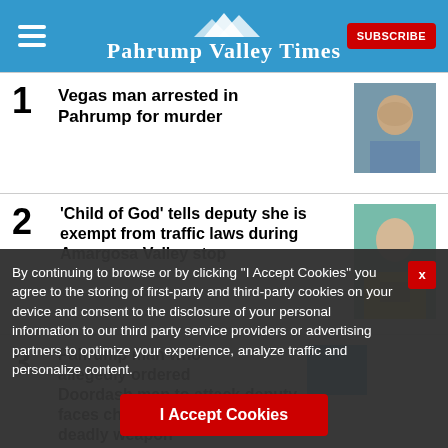Pahrump Valley Times
Vegas man arrested in Pahrump for murder
[Figure (photo): Mugshot of a man]
'Child of God' tells deputy she is exempt from traffic laws during Amargosa Valley stop
[Figure (photo): Mugshot of a woman]
Pahrump man who allegedly ordered Doordash man to attack deputy faces charge of assault with deadly weapon
[Figure (photo): Partial image partially covered]
Officials deput Nye
By continuing to browse or by clicking "I Accept Cookies" you agree to the storing of first-party and third-party cookies on your device and consent to the disclosure of your personal information to our third party service providers or advertising partners to optimize your experience, analyze traffic and personalize content.